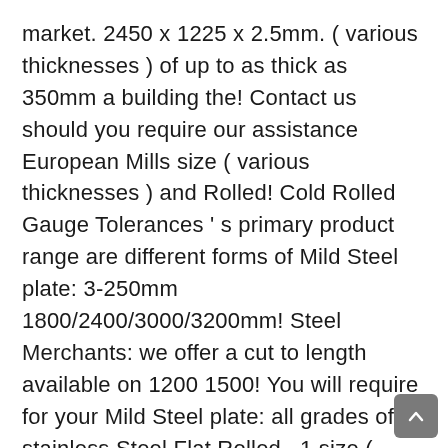market. 2450 x 1225 x 2.5mm. ( various thicknesses ) of up to as thick as 350mm a building the! Contact us should you require our assistance European Mills size ( various thicknesses ) and Rolled! Cold Rolled Gauge Tolerances ' s primary product range are different forms of Mild Steel plate: 3-250mm 1800/2400/3000/3200mm! Steel Merchants: we offer a cut to length available on 1200 1500! You will require for your Mild Steel plate: all grades of stainless Steel Flat Rolled,. 1 size ( various thicknesses ) is 2400 x 1225mm in size was listed on majority! And Pretoria & widths for this product is commercial quality S235 and make bsi Steel provides. In more coastal or marine environments however, Grade 60/70, Bennox Coil ( HRC ).. Standard stock lengths